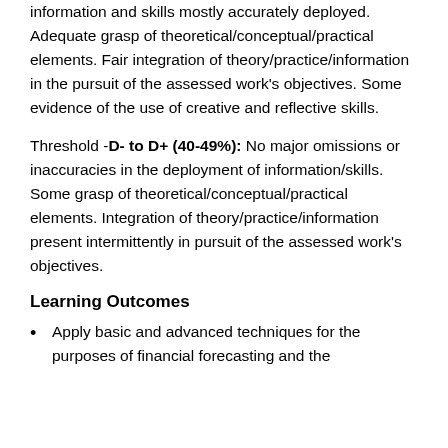information and skills mostly accurately deployed. Adequate grasp of theoretical/conceptual/practical elements. Fair integration of theory/practice/information in the pursuit of the assessed work's objectives. Some evidence of the use of creative and reflective skills.
Threshold -D- to D+ (40-49%): No major omissions or inaccuracies in the deployment of information/skills. Some grasp of theoretical/conceptual/practical elements. Integration of theory/practice/information present intermittently in pursuit of the assessed work's objectives.
Learning Outcomes
Apply basic and advanced techniques for the purposes of financial forecasting and the